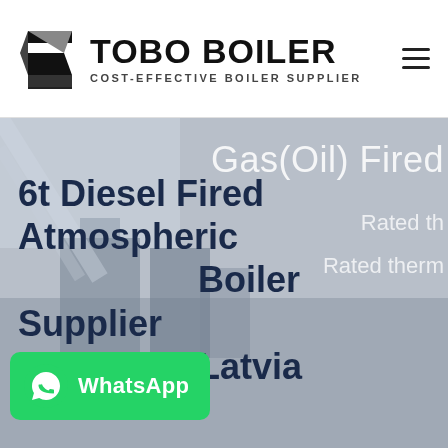TOBO BOILER - COST-EFFECTIVE BOILER SUPPLIER
[Figure (screenshot): Hero banner with industrial boiler background image showing Gas(Oil) Fired boiler product page. Text overlays read 'Gas(Oil) Fired', 'Rated th...', 'Rated therm...' on the right side. Bottom left shows bold title '6t Diesel Fired Atmospheric Boiler Supplier Latvia' and a WhatsApp contact button.]
6t Diesel Fired Atmospheric Boiler Supplier Latvia